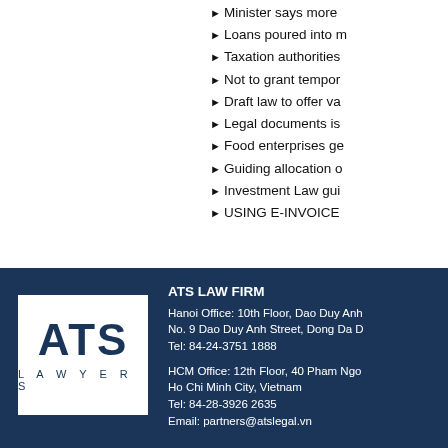Minister says more...
Loans poured into n...
Taxation authorities...
Not to grant tempor...
Draft law to offer va...
Legal documents is...
Food enterprises ge...
Guiding allocation o...
Investment Law gui...
USING E-INVOICE...
[Figure (logo): ATS Lawyers logo — white square with dark blue ATS text and LAWYERS text below]
ATS LAW FIRM
Hanoi Office: 10th Floor, Dao Duy Anh...
No. 9 Dao Duy Anh Street, Dong Da D...
Tel: 84-24-3751 1888

HCM Office: 12th Floor, 40 Pham Ngo...
Ho Chi Minh City, Vietnam
Tel: 84-28-3926 2635
Email: partners@atslegal.vn